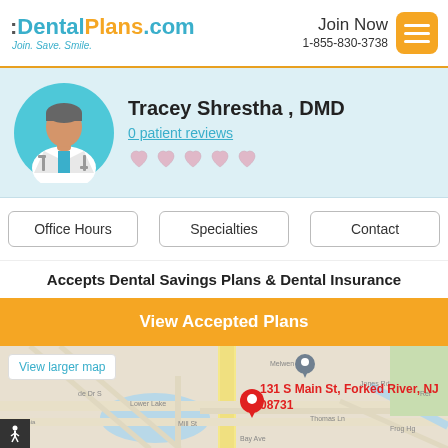:DentalPlans.com Join. Save. Smile. | Join Now 1-855-830-3738
Tracey Shrestha , DMD
0 patient reviews
Office Hours | Specialties | Contact
Accepts Dental Savings Plans & Dental Insurance
View Accepted Plans
[Figure (map): Google map showing location at 131 S Main St, Forked River, NJ 08731 with a red pin marker]
View larger map
131 S Main St, Forked River, NJ 08731